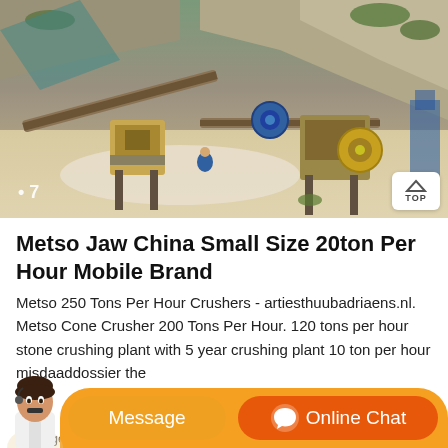[Figure (photo): Aerial/elevated view of a mobile stone crushing plant operation at a quarry site with rocky cliff face in background, conveyor belts, jaw crushers, and construction equipment visible]
Metso Jaw China Small Size 20ton Per Hour Mobile Brand
Metso 250 Tons Per Hour Crushers - artiesthuubadriaens.nl. Metso Cone Crusher 200 Tons Per Hour. 120 tons per hour stone crushing plant with 5 year crushing plant 10 ton per hour misdaaddossier the
full page photo marshman